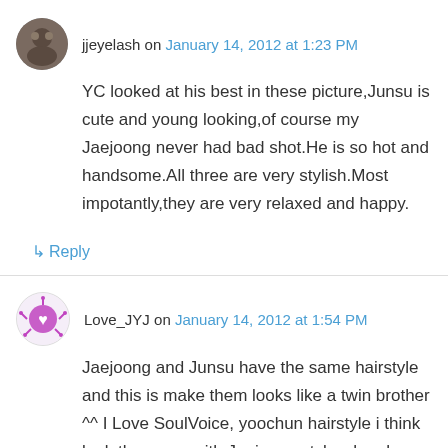jjeyelash on January 14, 2012 at 1:23 PM
YC looked at his best in these picture,Junsu is cute and young looking,of course my Jaejoong never had bad shot.He is so hot and handsome.All three are very stylish.Most impotantly,they are very relaxed and happy.
↳ Reply
Love_JYJ on January 14, 2012 at 1:54 PM
Jaejoong and Junsu have the same hairstyle and this is make them looks like a twin brother ^^ I Love SoulVoice, yoochun hairstyle i think look the same with Jaejoong style when he perform in japan concert. everyone looks handsome here